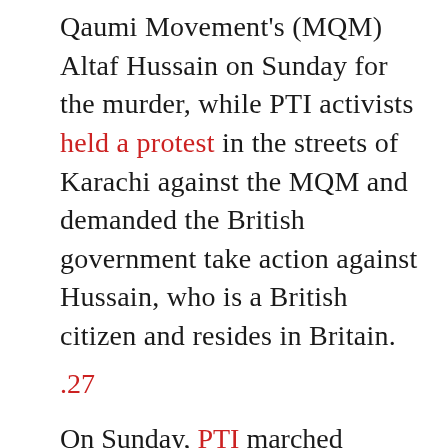Qaumi Movement's (MQM) Altaf Hussain on Sunday for the murder, while PTI activists held a protest in the streets of Karachi against the MQM and demanded the British government take action against Hussain, who is a British citizen and resides in Britain.
.27
On Sunday, PTI marched...